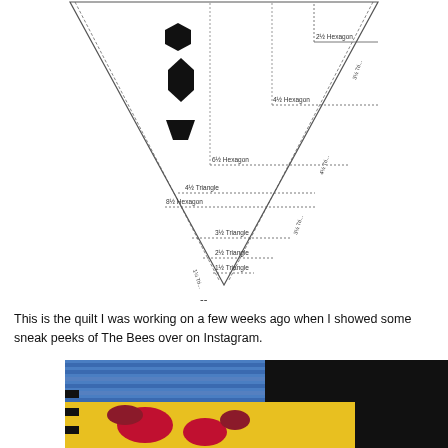[Figure (illustration): A quilting ruler template in the shape of a downward-pointing triangle with dashed and solid lines marking various size measurements for hexagons and triangles (2½ Hexagon, 3½ Triangle, 4½ Hexagon, 4½ Triangle, 6½ Hexagon, 8½ Hexagon, 3½ Triangle, 2½ Triangle, 1½ Triangle labels). Three black silhouette shapes (hexagon, diamond, trapezoid) are on the left side of the ruler.]
--
This is the quilt I was working on a few weeks ago when I showed some sneak peeks of The Bees over on Instagram.
[Figure (photo): A photograph of colorful quilting fabrics rolled/folded together, showing blue striped fabric on top and a yellow fabric with floral/heart patterns below, against a dark background.]